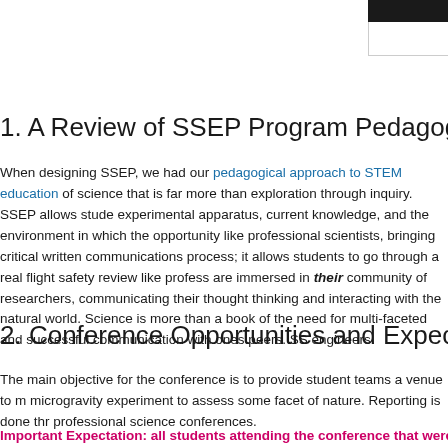[Figure (logo): Logo block in upper right corner with black bar on top and white area below]
1. A Review of SSEP Program Pedagogy
When designing SSEP, we had our pedagogical approach to STEM education of science that is far more than exploration through inquiry. SSEP allows students experimental apparatus, current knowledge, and the environment in which the opportunity like professional scientists, bringing critical written communications process; it allows students to go through a real flight safety review like professionals are immersed in their community of researchers, communicating their thoughts thinking and interacting with the natural world. Science is more than a book of the need for multi-faceted and successful communication with ones peers. SS engineers.
2. Conference Opportunities and Expectations
The main objective for the conference is to provide student teams a venue to microgravity experiment to assess some facet of nature. Reporting is done through professional science conferences.
Important Expectation: all students attending the conference that were p